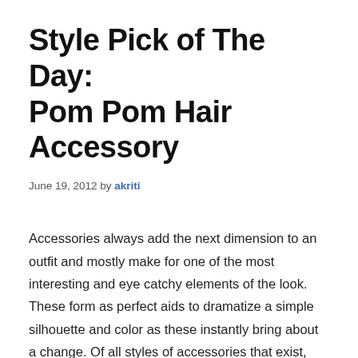Style Pick of The Day: Pom Pom Hair Accessory
June 19, 2012 by akriti
Accessories always add the next dimension to an outfit and mostly make for one of the most interesting and eye catchy elements of the look. These form as perfect aids to dramatize a simple silhouette and color as these instantly bring about a change. Of all styles of accessories that exist, each of them have a role to play and each in its own way. Going by typical traits of accessory,  hair accessories not only helping in keeping